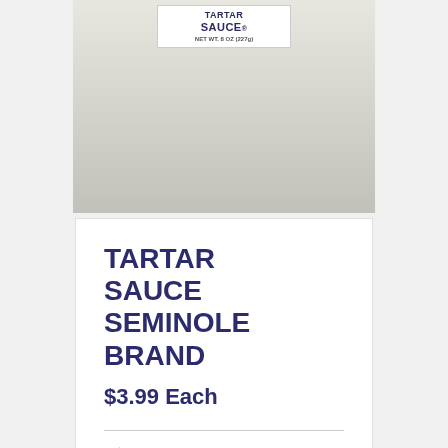[Figure (photo): Top portion of a Tartar Sauce jar with white/cream label showing 'TARTAR SAUCE' text, partially cropped at top]
TARTAR SAUCE SEMINOLE BRAND
$3.99 Each
Add to order   Details
[Figure (photo): Bottom partial image showing a red product item against a light grey/white background, cropped]